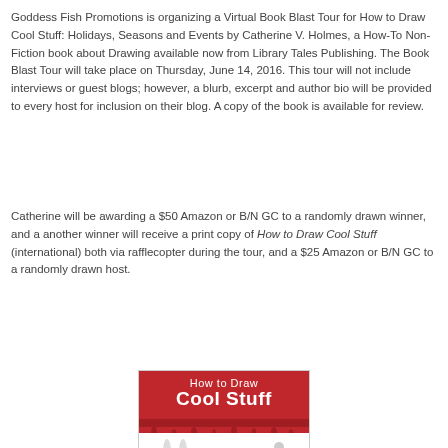Goddess Fish Promotions is organizing a Virtual Book Blast Tour for How to Draw Cool Stuff: Holidays, Seasons and Events by Catherine V. Holmes, a How-To Non-Fiction book about Drawing available now from Library Tales Publishing. The Book Blast Tour will take place on Thursday, June 14, 2016. This tour will not include interviews or guest blogs; however, a blurb, excerpt and author bio will be provided to every host for inclusion on their blog. A copy of the book is available for review.
Catherine will be awarding a $50 Amazon or B/N GC to a randomly drawn winner, and a another winner will receive a print copy of How to Draw Cool Stuff (international) both via rafflecopter during the tour, and a $25 Amazon or B/N GC to a randomly drawn host.
[Figure (illustration): Book cover of 'How to Draw Cool Stuff' with red background, white title text, blood drip effect, and cartoon characters at the bottom]